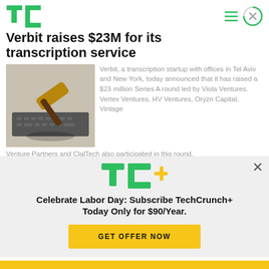TechCrunch
Verbit raises $23M for its transcription service
[Figure (photo): A judge's gavel resting on a laptop keyboard on a desk.]
Verbit, a transcription startup with offices in Tel Aviv and New York, today announced that it has raised a $23 million Series A round led by Viola Ventures. Vertex Ventures, HV Ventures, Oryzn Capital, Vintage Venture Partners and ClalTech also participated in this round.
[Figure (logo): TechCrunch+ logo in green and yellow]
Celebrate Labor Day: Subscribe TechCrunch+ Today Only for $90/Year.
GET OFFER NOW